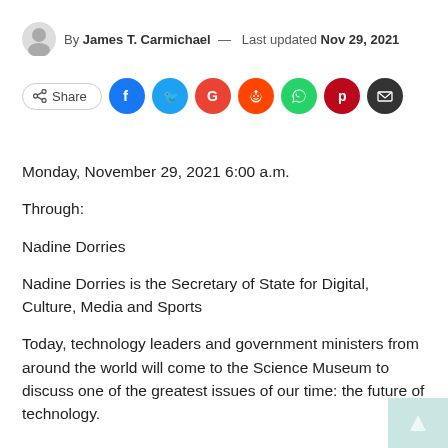By James T. Carmichael — Last updated Nov 29, 2021
[Figure (infographic): Share button and social media icon row: Facebook (blue), Twitter (cyan), Google (red-orange), Reddit (orange-red), WhatsApp (green), Pinterest (dark red), Email (dark gray)]
Monday, November 29, 2021 6:00 a.m.
Through:
Nadine Dorries
Nadine Dorries is the Secretary of State for Digital, Culture, Media and Sports
Today, technology leaders and government ministers from around the world will come to the Science Museum to discuss one of the greatest issues of our time: the future of technology.